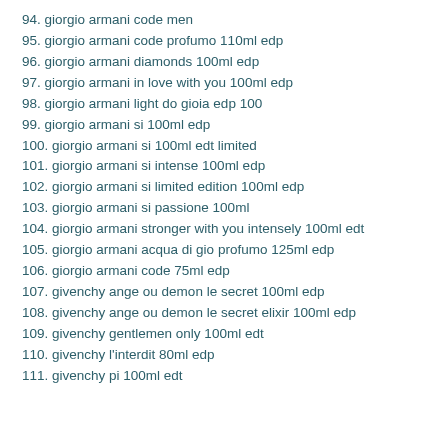94. giorgio armani code men
95. giorgio armani code profumo 110ml edp
96. giorgio armani diamonds 100ml edp
97. giorgio armani in love with you 100ml edp
98. giorgio armani light do gioia edp 100
99. giorgio armani si 100ml edp
100. giorgio armani si 100ml edt limited
101. giorgio armani si intense 100ml edp
102. giorgio armani si limited edition 100ml edp
103. giorgio armani si passione 100ml
104. giorgio armani stronger with you intensely 100ml edt
105. giorgio armani acqua di gio profumo 125ml edp
106. giorgio armani code 75ml edp
107. givenchy ange ou demon le secret 100ml edp
108. givenchy ange ou demon le secret elixir 100ml edp
109. givenchy gentlemen only 100ml edt
110. givenchy l'interdit 80ml edp
111. givenchy pi 100ml edt